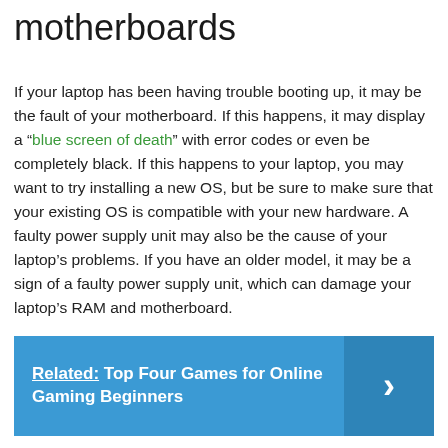motherboards
If your laptop has been having trouble booting up, it may be the fault of your motherboard. If this happens, it may display a “blue screen of death” with error codes or even be completely black. If this happens to your laptop, you may want to try installing a new OS, but be sure to make sure that your existing OS is compatible with your new hardware. A faulty power supply unit may also be the cause of your laptop’s problems. If you have an older model, it may be a sign of a faulty power supply unit, which can damage your laptop’s RAM and motherboard.
Related: Top Four Games for Online Gaming Beginners